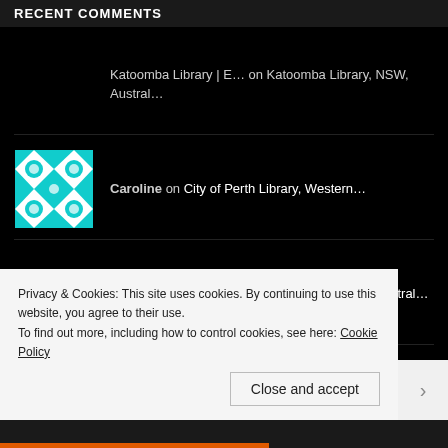RECENT COMMENTS
Katoomba Library | E… on Katoomba Library, NSW, Austral…
Caroline on City of Perth Library, Western…
We've gone int… on Katoomba Library, NSW, Austral…
Knjižnica i čitaonic… on Name of the Library: Public li…
Shazazzle on Upper Coomera Branch Library,…
Privacy & Cookies: This site uses cookies. By continuing to use this website, you agree to their use. To find out more, including how to control cookies, see here: Cookie Policy
Close and accept